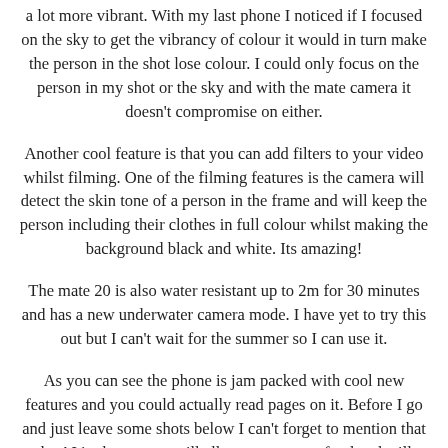a lot more vibrant. With my last phone I noticed if I focused on the sky to get the vibrancy of colour it would in turn make the person in the shot lose colour. I could only focus on the person in my shot or the sky and with the mate camera it doesn't compromise on either.
Another cool feature is that you can add filters to your video whilst filming. One of the filming features is the camera will detect the skin tone of a person in the frame and will keep the person including their clothes in full colour whilst making the background black and white. Its amazing!
The mate 20 is also water resistant up to 2m for 30 minutes and has a new underwater camera mode. I have yet to try this out but I can't wait for the summer so I can use it.
As you can see the phone is jam packed with cool new features and you could actually read pages on it. Before I go and just leave some shots below I can't forget to mention that the AI in the camera will allow you to scan food and will bring up calories and grams in the food, it can translate full menus into different languages, it can take a picture of say a watch and it